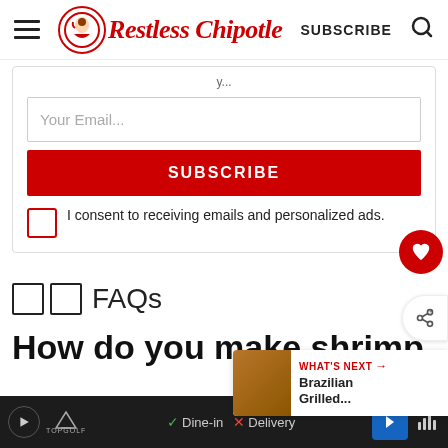Restless Chipotle — SUBSCRIBE
Your Email...
SUBSCRIBE
I consent to receiving emails and personalized ads.
FAQs
How do you make shrimp
WHAT'S NEXT → Brazilian Grilled...
Dine-in  Delivery — TopGolf ad bar